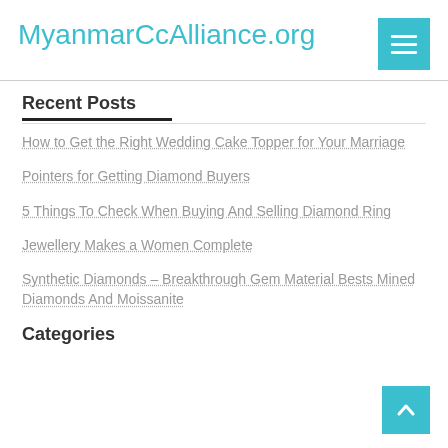MyanmarCcAlliance.org
Recent Posts
How to Get the Right Wedding Cake Topper for Your Marriage
Pointers for Getting Diamond Buyers
5 Things To Check When Buying And Selling Diamond Ring
Jewellery Makes a Women Complete
Synthetic Diamonds – Breakthrough Gem Material Bests Mined Diamonds And Moissanite
Categories